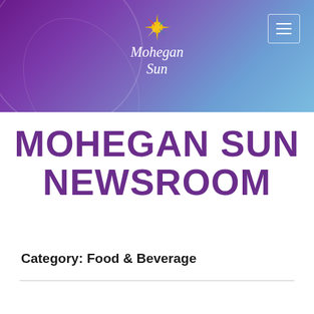[Figure (logo): Mohegan Sun logo with star/sun icon above cursive text 'Mohegan Sun' on purple-to-blue gradient banner header]
MOHEGAN SUN NEWSROOM
Category: Food & Beverage